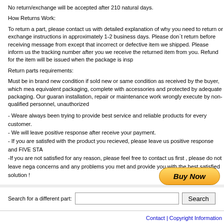No return/exchange will be accepted after 210 natural days.
How Returns Work:
To return a part, please contact us with detailed explanation of why you need to return or exchange instructions in approximately 1-2 business days. Please don`t return before receiving message from except that incorrect or defective item we shipped. Please inform us the tracking number after you we receive the returned item from you. Refund for the item will be issued when the package is insp
Return parts requirements:
Must be in brand new condition if sold new or same condition as received by the buyer, which mea equivalent packaging, complete with accessories and protected by adequate packaging. Our guaran installation, repair or maintenance work wrongly execute by non-qualified personnel, unauthorized
- Weare always been trying to provide best service and reliable products for every customer.
- We will leave positive response after receive your payment.
- If you are satisfed with the product you recieved, please leave us positive response and FIVE STA
-If you are not satisfied for any reason, please feel free to contact us first , please do not leave nega concerns and any problems you met and provide you with the best satisfied solution !
[Figure (other): Buy Now button - yellow/orange rounded rectangle button with italic bold text]
Search for a different part:
Contact | Copyright Information